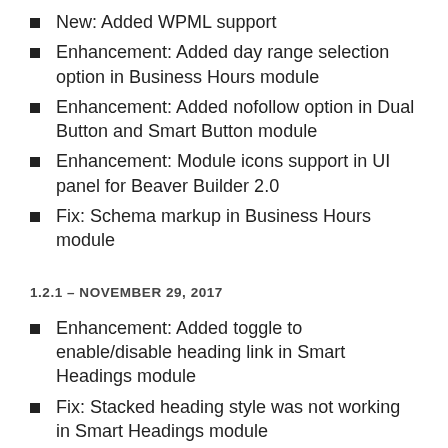New: Added WPML support
Enhancement: Added day range selection option in Business Hours module
Enhancement: Added nofollow option in Dual Button and Smart Button module
Enhancement: Module icons support in UI panel for Beaver Builder 2.0
Fix: Schema markup in Business Hours module
1.2.1 – NOVEMBER 29, 2017
Enhancement: Added toggle to enable/disable heading link in Smart Headings module
Fix: Stacked heading style was not working in Smart Headings module
1.2.0 – NOVEMBER 24, 2017
New: BB 2.0 compatibility with UI fields
Enhancement: Added Inline/Stacked options in